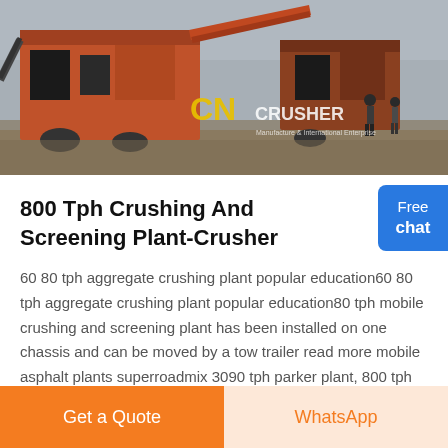[Figure (photo): Outdoor industrial crushing and screening plant with orange/red machinery, conveyor belts, workers on site, overcast sky. CN CRUSHER logo and branding visible on image.]
800 Tph Crushing And Screening Plant-Crusher
60 80 tph aggregate crushing plant popular education60 80 tph aggregate crushing plant popular education80 tph mobile crushing and screening plant has been installed on one chassis and can be moved by a tow trailer read more mobile asphalt plants superroadmix 3090 tph parker plant, 800 tph crushing and screening plant
Free chat
Get a Quote
WhatsApp